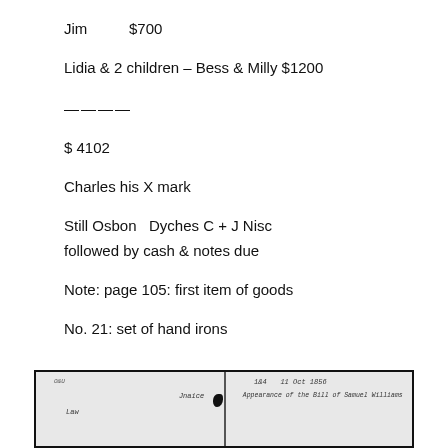Jim        $700
Lidia & 2 children – Bess & Milly $1200
————
$ 4102
Charles his X mark
Still Osbon  Dyches C + J Nisc
followed by cash & notes due
Note: page 105: first item of goods
No. 21: set of hand irons
[Figure (photo): Scanned historical handwritten document page with two columns, showing cursive handwriting and an ink blot near the center column divider. Text includes date references and partial cursive script.]